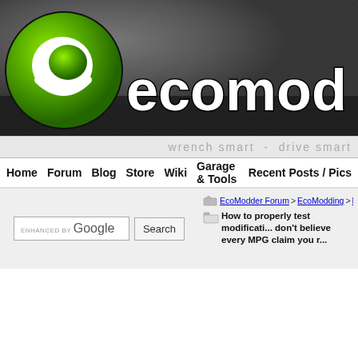[Figure (logo): EcoModder website header banner with green circular logo and 'ecomod' text on dark grey textured background]
wrench smart - drive smart
Home  Forum  Blog  Store  Wiki  Garage & Tools  Recent Posts / Pics
ENHANCED BY Google  Search
EcoModder Forum > EcoModding > EcoM... How to properly test modificati... don't believe every MPG claim you r...